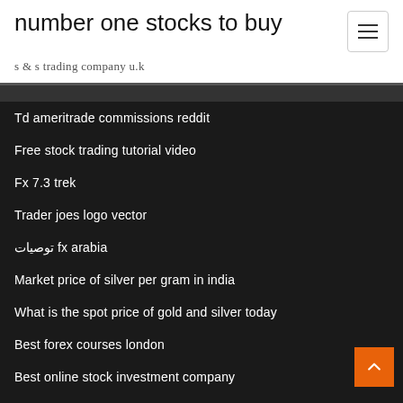number one stocks to buy
s & s trading company u.k
Td ameritrade commissions reddit
Free stock trading tutorial video
Fx 7.3 trek
Trader joes logo vector
توصيات fx arabia
Market price of silver per gram in india
What is the spot price of gold and silver today
Best forex courses london
Best online stock investment company
Shopify stock nyse chart